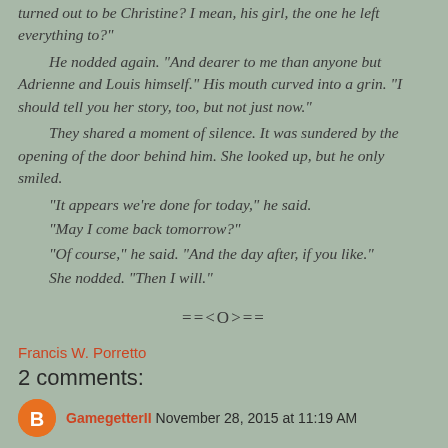turned out to be Christine? I mean, his girl, the one he left everything to?"
	He nodded again. “And dearer to me than anyone but Adrienne and Louis himself.” His mouth curved into a grin. “I should tell you her story, too, but not just now.”
	They shared a moment of silence. It was sundered by the opening of the door behind him. She looked up, but he only smiled.
	“It appears we’re done for today,” he said.
	“May I come back tomorrow?”
	“Of course,” he said. “And the day after, if you like.”
	She nodded. “Then I will.”
==<O>==
Francis W. Porretto
2 comments:
GamegetterII  November 28, 2015 at 11:19 AM